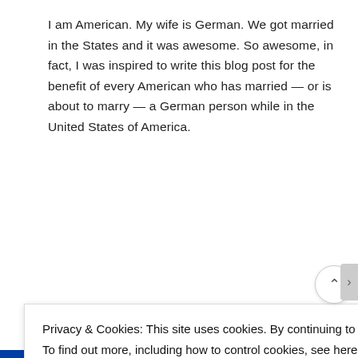I am American. My wife is German. We got married in the States and it was awesome. So awesome, in fact, I was inspired to write this blog post for the benefit of every American who has married — or is about to marry — a German person while in the United States of America.
'Die Hochzeit,' meaning 'Wedding' in German, sounds
Privacy & Cookies: This site uses cookies. By continuing to use this website, you agree to their use.
To find out more, including how to control cookies, see here: Cookie Policy
CLOSE AND ACCEPT